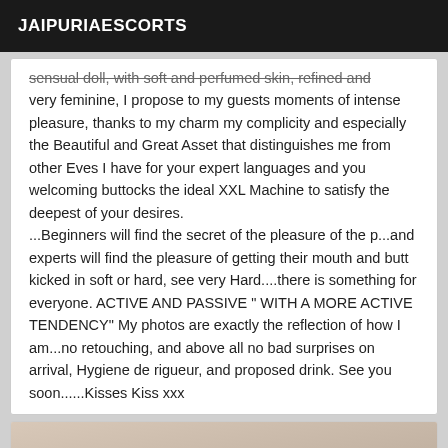JAIPURIAESCORTS
sensual doll, with soft and perfumed skin, refined and very feminine, I propose to my guests moments of intense pleasure, thanks to my charm my complicity and especially the Beautiful and Great Asset that distinguishes me from other Eves I have for your expert languages and you welcoming buttocks the ideal XXL Machine to satisfy the deepest of your desires. ...Beginners will find the secret of the pleasure of the p...and experts will find the pleasure of getting their mouth and butt kicked in soft or hard, see very Hard....there is something for everyone. ACTIVE AND PASSIVE " WITH A MORE ACTIVE TENDENCY" My photos are exactly the reflection of how I am...no retouching, and above all no bad surprises on arrival, Hygiene de rigueur, and proposed drink. See you soon......Kisses Kiss xxx
[Figure (photo): Bottom card with photo and VIP badge]